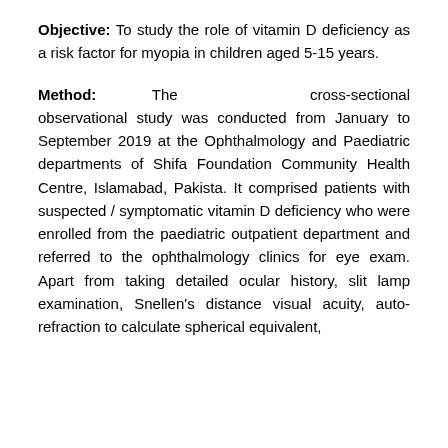Objective: To study the role of vitamin D deficiency as a risk factor for myopia in children aged 5-15 years.
Method: The cross-sectional observational study was conducted from January to September 2019 at the Ophthalmology and Paediatric departments of Shifa Foundation Community Health Centre, Islamabad, Pakista. It comprised patients with suspected / symptomatic vitamin D deficiency who were enrolled from the paediatric outpatient department and referred to the ophthalmology clinics for eye exam. Apart from taking detailed ocular history, slit lamp examination, Snellen's distance visual acuity, auto-refraction to calculate spherical equivalent, and slit lamp from measuring the risk